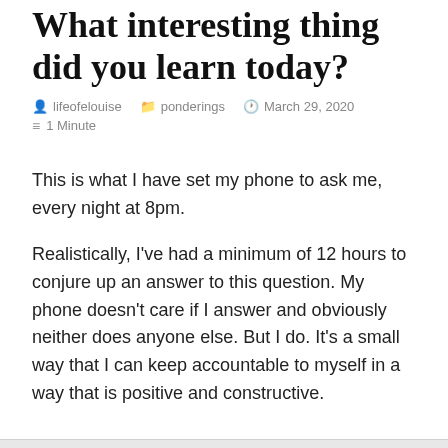What interesting thing did you learn today?
lifeofelouise   ponderings   March 29, 2020   1 Minute
This is what I have set my phone to ask me, every night at 8pm.
Realistically, I've had a minimum of 12 hours to conjure up an answer to this question. My phone doesn't care if I answer and obviously neither does anyone else. But I do. It's a small way that I can keep accountable to myself in a way that is positive and constructive.